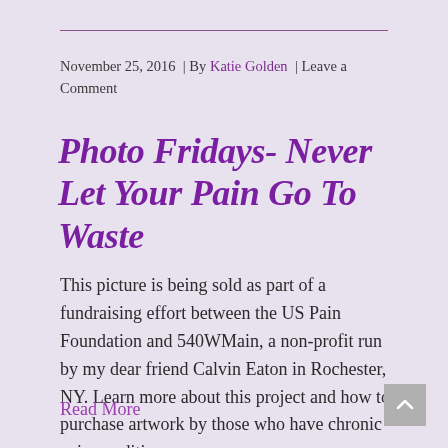November 25, 2016  | By Katie Golden  | Leave a Comment
Photo Fridays- Never Let Your Pain Go To Waste
This picture is being sold as part of a fundraising effort between the US Pain Foundation and 540WMain, a non-profit run by my dear friend Calvin Eaton in Rochester, NY. Learn more about this project and how to purchase artwork by those who have chronic pain conditions.
Read More